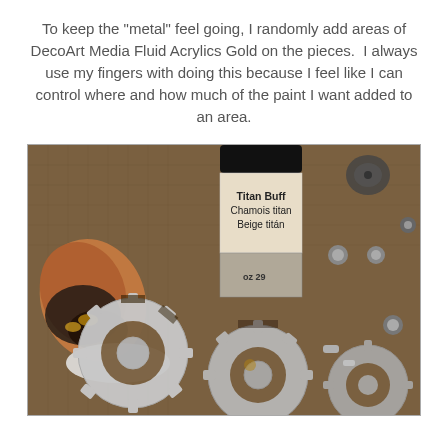To keep the "metal" feel going, I randomly add areas of DecoArt Media Fluid Acrylics Gold on the pieces.  I always use my fingers with doing this because I feel like I can control where and how much of the paint I want added to an area.
[Figure (photo): Photo showing a paint bottle labeled 'Titan Buff / Chamois titan / Beige titán' next to a finger covered in dark paint, with metallic gear-shaped decorative pieces on a brown surface]